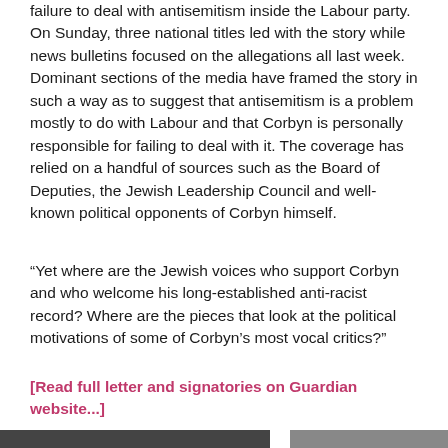failure to deal with antisemitism inside the Labour party. On Sunday, three national titles led with the story while news bulletins focused on the allegations all last week. Dominant sections of the media have framed the story in such a way as to suggest that antisemitism is a problem mostly to do with Labour and that Corbyn is personally responsible for failing to deal with it. The coverage has relied on a handful of sources such as the Board of Deputies, the Jewish Leadership Council and well-known political opponents of Corbyn himself.
“Yet where are the Jewish voices who support Corbyn and who welcome his long-established anti-racist record? Where are the pieces that look at the political motivations of some of Corbyn’s most vocal critics?”
[Read full letter and signatories on Guardian website...]